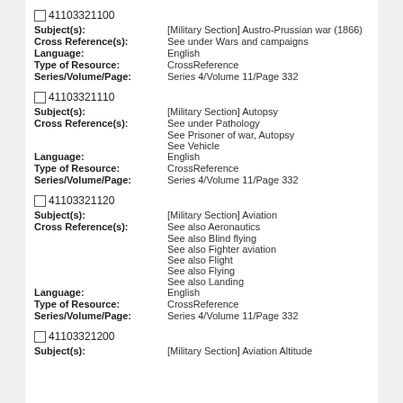41103321100
Subject(s): [Military Section] Austro-Prussian war (1866)
Cross Reference(s): See under Wars and campaigns
Language: English
Type of Resource: CrossReference
Series/Volume/Page: Series 4/Volume 11/Page 332
41103321110
Subject(s): [Military Section] Autopsy
Cross Reference(s): See under Pathology
See Prisoner of war, Autopsy
See Vehicle
Language: English
Type of Resource: CrossReference
Series/Volume/Page: Series 4/Volume 11/Page 332
41103321120
Subject(s): [Military Section] Aviation
Cross Reference(s): See also Aeronautics
See also Blind flying
See also Fighter aviation
See also Flight
See also Flying
See also Landing
Language: English
Type of Resource: CrossReference
Series/Volume/Page: Series 4/Volume 11/Page 332
41103321200
Subject(s): [Military Section] Aviation Altitude